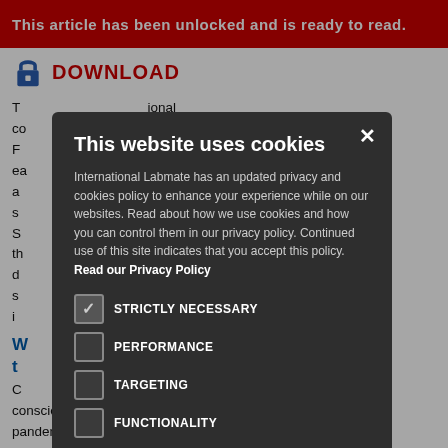This article has been unlocked and is ready to read.
DOWNLOAD
T... ional co... al agents. F... ablished tool for ea... on capabilities a... oaking facilities, s... Diamond Light S... ents in th... preparation, d... ew technologies s... ute to the i... ndemic.
W... eeded in t... ?
C... e public consciousness during the COVID-19 pandemic. As the pandemic took hold, research groups swiftly collaborated on
[Figure (screenshot): Cookie consent modal dialog with dark background. Title: 'This website uses cookies'. Body text from International Labmate about privacy and cookies policy. Cookie options: STRICTLY NECESSARY (checked), PERFORMANCE (unchecked), TARGETING (unchecked), FUNCTIONALITY (unchecked). Two buttons: 'I AGREE' (green) and 'DECLINE ALL' (outlined). Close X button in top right.]